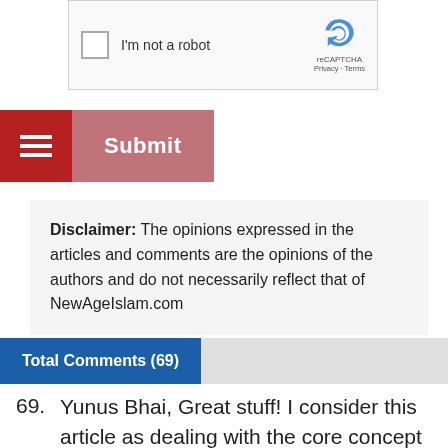[Figure (screenshot): reCAPTCHA widget with checkbox labeled 'I'm not a robot' and Google reCAPTCHA logo with Privacy and Terms links]
[Figure (screenshot): Submit button with red hamburger menu icon on the left and pink/rose Submit button]
Disclaimer: The opinions expressed in the articles and comments are the opinions of the authors and do not necessarily reflect that of NewAgeIslam.com
Total Comments (69)
69. Yunus Bhai, Great stuff! I consider this article as dealing with the core concept of the religion based on the spirit of the Book than the letters, looking at the Big Picture. This kind of views and reviews of Quran will help